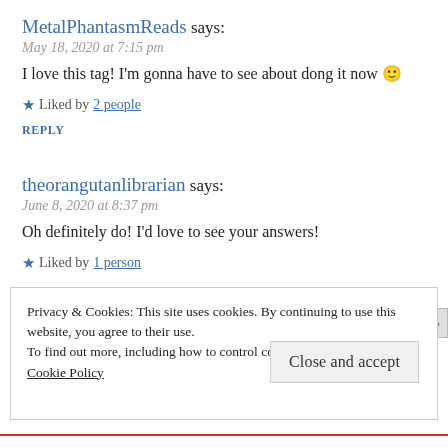MetalPhantasmReads says:
May 18, 2020 at 7:15 pm
I love this tag! I'm gonna have to see about dong it now 🙂
★ Liked by 2 people
REPLY
theorangutanlibrarian says:
June 8, 2020 at 8:37 pm
Oh definitely do! I'd love to see your answers!
★ Liked by 1 person
Privacy & Cookies: This site uses cookies. By continuing to use this website, you agree to their use.
To find out more, including how to control cookies, see here:
Cookie Policy
Close and accept